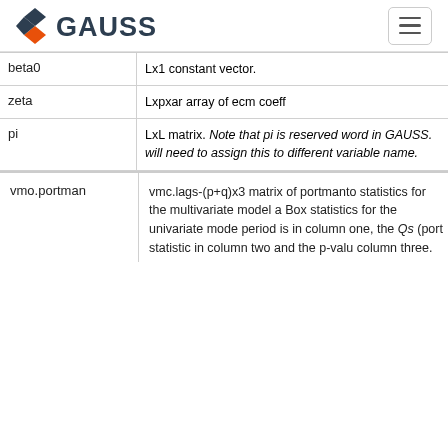GAUSS
| Parameter | Description |
| --- | --- |
| beta0 | Lx1 constant vector. |
| zeta | Lxpxar array of ecm coeff |
| pi | LxL matrix. Note that pi is reserved word in GAUSS. will need to assign this to different variable name. |
| vmo.portman | Description |
| --- | --- |
| vmo.portman | vmc.lags-(p+q)x3 matrix of portmanto statistics for the multivariate model a Box statistics for the univariate mode period is in column one, the Qs (port statistic in column two and the p-valu column three. |